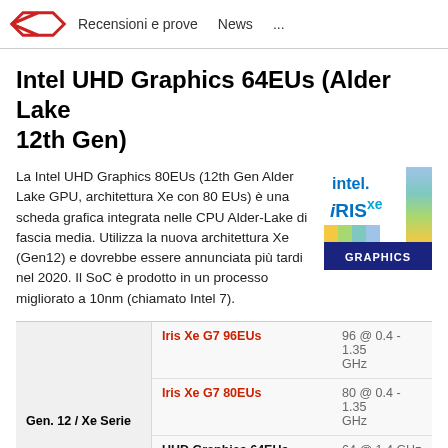Recensioni e prove   News   ...
Intel UHD Graphics 64EUs (Alder Lake 12th Gen)
La Intel UHD Graphics 80EUs (12th Gen Alder Lake GPU, architettura Xe con 80 EUs) è una scheda grafica integrata nelle CPU Alder-Lake di fascia media. Utilizza la nuova architettura Xe (Gen12) e dovrebbe essere annunciata più tardi nel 2020. Il SoC è prodotto in un processo migliorato a 10nm (chiamato Intel 7).
[Figure (logo): Intel iRIS Xe GRAPHICS logo]
| Gen. 12 / Xe Serie | Model | Spec |
| --- | --- | --- |
| Gen. 12 / Xe Serie | Iris Xe G7 96EUs | 96 @ 0.4 - 1.35 GHz |
|  | Iris Xe G7 80EUs | 80 @ 0.4 - 1.35 GHz |
|  | UHD Graphics 64EUs | 64 @ 1.4 GHz |
|  | UHD Graphics Xe G4 48EUs | 48 @ 0.35 - 1.45 GHz |